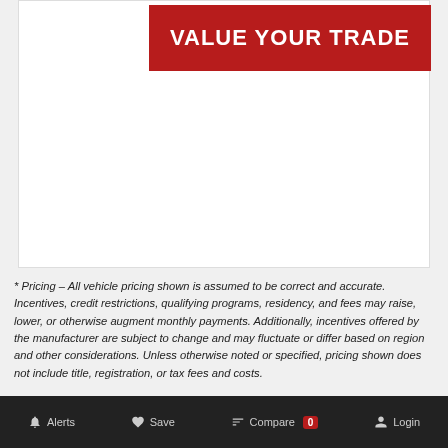[Figure (screenshot): Red 'VALUE YOUR TRADE' button on white card background]
* Pricing – All vehicle pricing shown is assumed to be correct and accurate. Incentives, credit restrictions, qualifying programs, residency, and fees may raise, lower, or otherwise augment monthly payments. Additionally, incentives offered by the manufacturer are subject to change and may fluctuate or differ based on region and other considerations. Unless otherwise noted or specified, pricing shown does not include title, registration, or tax fees and costs.
* MPG – Vehicle information, as well as features and other inclusions, may vary by model and are based exclusively on standard equipment. No claims, warranties, or guarantees have been made related to the accuracy of customer payments, model equipment, or vehicle pricing. Please call with any questions you might have and to reassert the
Alerts   Save   Compare 0   Login